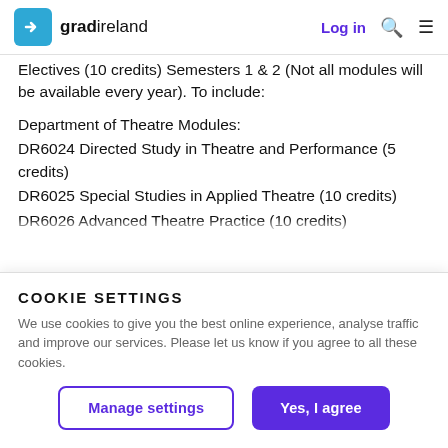gradireland — Log in
Electives (10 credits) Semesters 1 & 2 (Not all modules will be available every year). To include:
Department of Theatre Modules:
DR6024 Directed Study in Theatre and Performance (5 credits)
DR6025 Special Studies in Applied Theatre (10 credits)
DR6026 Advanced Theatre Practice (10 credits)
COOKIE SETTINGS
We use cookies to give you the best online experience, analyse traffic and improve our services. Please let us know if you agree to all these cookies.
Manage settings
Yes, I agree